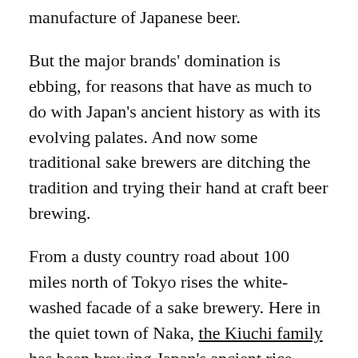Suntory, Sapporo and Kirin de controlled the manufacture of Japanese beer.
But the major brands' domination is ebbing, for reasons that have as much to do with Japan's ancient history as with its evolving palates. And now some traditional sake brewers are ditching the tradition and trying their hand at craft beer brewing.
From a dusty country road about 100 miles north of Tokyo rises the white-washed facade of a sake brewery. Here in the quiet town of Naka, the Kiuchi family has been brewing Japan's ancient rice wine for seven generations, since the time of the shoguns.
But these days, the beverage rolling off Kiuchi's production line would make its 19th century founders squirm. The brewery is now a leading maker of micro-beer.